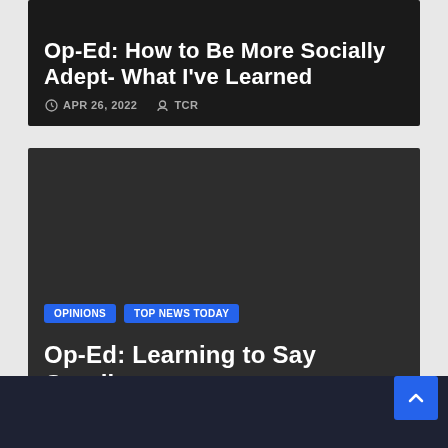Op-Ed: How to Be More Socially Adept- What I've Learned
APR 26, 2022  TCR
OPINIONS  TOP NEWS TODAY
Op-Ed: Learning to Say Goodbye
APR 26, 2022  TCR